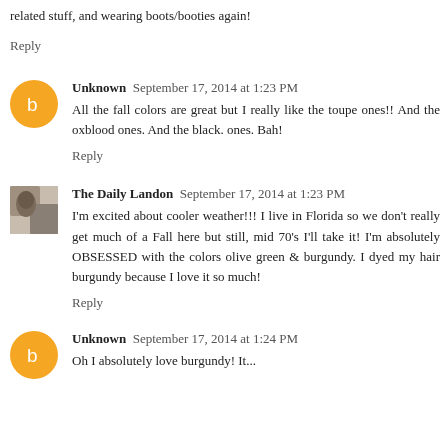related stuff, and wearing boots/booties again!
Reply
Unknown  September 17, 2014 at 1:23 PM
All the fall colors are great but I really like the toupe ones!! And the oxblood ones. And the black. ones. Bah!
Reply
The Daily Landon  September 17, 2014 at 1:23 PM
I'm excited about cooler weather!!! I live in Florida so we don't really get much of a Fall here but still, mid 70's I'll take it! I'm absolutely OBSESSED with the colors olive green & burgundy. I dyed my hair burgundy because I love it so much!
Reply
Unknown  September 17, 2014 at 1:24 PM
Oh I absolutely love burgundy! It...